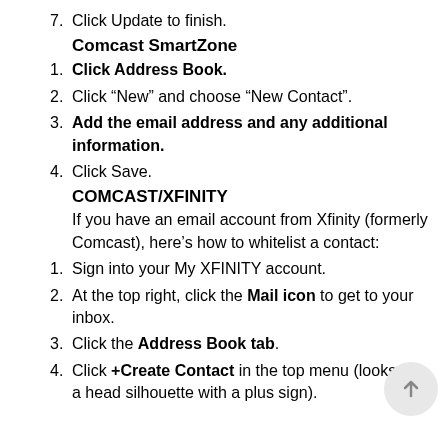7. Click Update to finish.
Comcast SmartZone
1. Click Address Book.
2. Click “New” and choose “New Contact”.
3. Add the email address and any additional information.
4. Click Save.
COMCAST/XFINITY
If you have an email account from Xfinity (formerly Comcast), here’s how to whitelist a contact:
1. Sign into your My XFINITY account.
2. At the top right, click the Mail icon to get to your inbox.
3. Click the Address Book tab.
4. Click +Create Contact in the top menu (looks like a head silhouette with a plus sign).